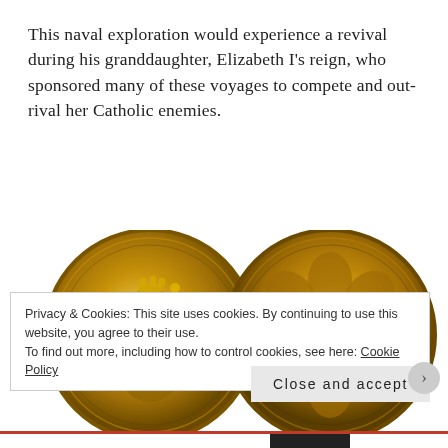This naval exploration would experience a revival during his granddaughter, Elizabeth I's reign, who sponsored many of these voyages to compete and out-rival her Catholic enemies.
[Figure (photo): Two gold coins side by side — obverse showing a seated monarch holding a scepter with Latin inscription around the edge, and reverse showing a Tudor rose with heraldic shield at center and Latin inscription around the edge.]
Privacy & Cookies: This site uses cookies. By continuing to use this website, you agree to their use.
To find out more, including how to control cookies, see here: Cookie Policy
Close and accept